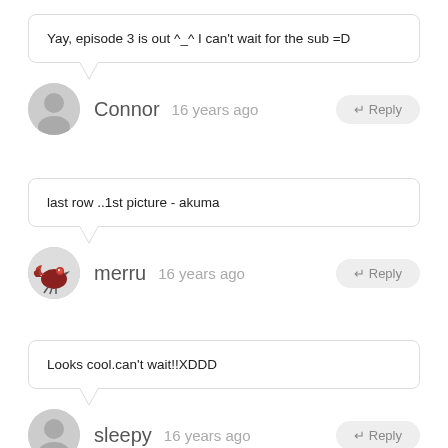Yay, episode 3 is out ^_^ I can't wait for the sub =D
Connor  16 years ago
last row ..1st picture - akuma
merru  16 years ago
Looks cool.can't wait!!XDDD
sleepy  16 years ago